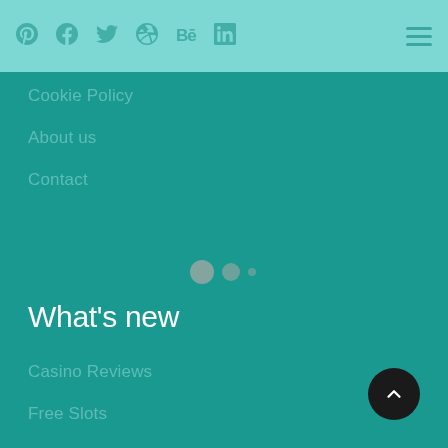Pinterest Facebook Twitter Dribbble Behance LinkedIn [hamburger menu]
Cookie Policy
About us
Contact
[Figure (other): Loading indicator with three dots of decreasing size]
What’s new
Casino Reviews
Free Slots
Slot Software